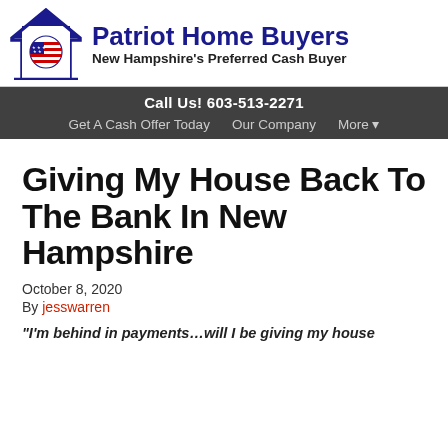[Figure (logo): Patriot Home Buyers logo with American flag circle inside a house outline, blue and red colors]
Patriot Home Buyers
New Hampshire's Preferred Cash Buyer
Call Us! 603-513-2271
Get A Cash Offer Today   Our Company   More ▾
Giving My House Back To The Bank In New Hampshire
October 8, 2020
By jesswarren
“I’m behind in payments…will I be giving my house